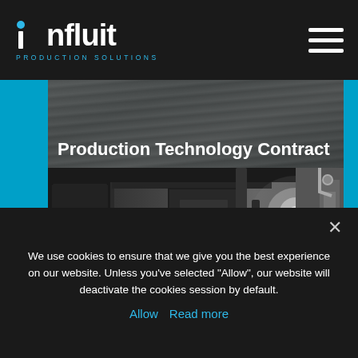influit PRODUCTION SOLUTIONS
Production Technology Contract
[Figure (photo): Black and white industrial photograph showing pipes, valves, machinery on an offshore production platform]
We use cookies to ensure that we give you the best experience on our website. Unless you've selected "Allow", our website will deactivate the cookies session by default.
Allow  Read more